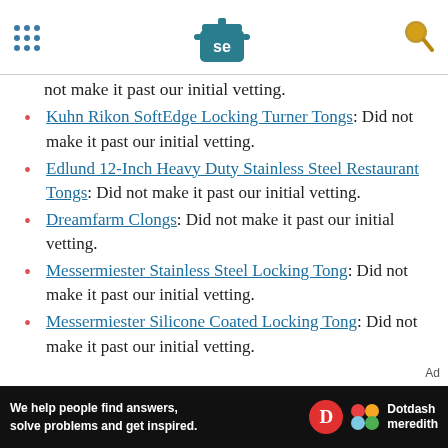[Serious Eats logo with SE icon, hamburger menu dots, search icon]
not make it past our initial vetting.
Kuhn Rikon SoftEdge Locking Turner Tongs: Did not make it past our initial vetting.
Edlund 12-Inch Heavy Duty Stainless Steel Restaurant Tongs: Did not make it past our initial vetting.
Dreamfarm Clongs: Did not make it past our initial vetting.
Messermiester Stainless Steel Locking Tong: Did not make it past our initial vetting.
Messermiester Silicone Coated Locking Tong: Did not make it past our initial vetting.